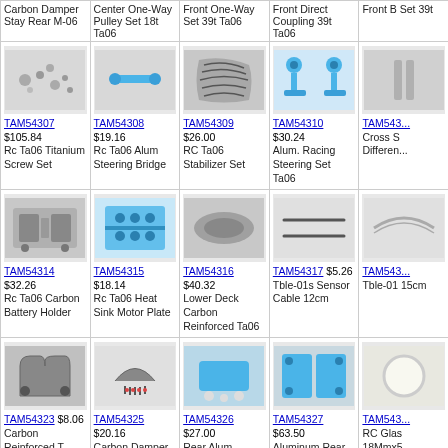| Carbon Damper Stay Rear M-06 | Center One-Way Pulley Set 18t Ta06 | Front One-Way Set 39t Ta06 | Front Direct Coupling 39t Ta06 | Front B Set 39t |
| TAM54307 $105.84 Rc Ta06 Titanium Screw Set | TAM54308 $19.16 Rc Ta06 Alum Steering Bridge | TAM54309 $26.00 RC Ta06 Stabilizer Set | TAM54310 $30.24 Alum. Racing Steering Set Ta06 | TAM543... Cross S Differen... |
| TAM54314 $32.26 Rc Ta06 Carbon Battery Holder | TAM54315 $18.14 Rc Ta06 Heat Sink Motor Plate | TAM54316 $40.32 Lower Deck Carbon Reinforced Ta06 | TAM54317 $5.26 Tble-01s Sensor Cable 12cm | TAM543... Tble-01 15cm |
| TAM54323 $8.06 Carbon Reinforced T Parts (Gear Case) | TAM54325 $20.16 Carbon Damper Stay Rear Ta06 | TAM54326 $27.00 Rear Alum. Damper Stay Mount M06 | TAM54327 $63.50 Aluminum Rear Upright for M05/M06 (1 Degree) | TAM543... RC Glas 18Mmx5... |
| TAM54333 $32.26 Rc F104X1 Long Upper Deck | TAM54334 $13.10 Rm01 Hbr Sponge Tire Front (2) | TAM54335 $17.14 Rm01 Hbr Sponge Tire Rear (2) | TAM54336 $47.38 Rc Db02 Slipper Clutch Set | TAM543... Rm-01 A Parts D... |
| (image) | (image) | NO | NO | N... |